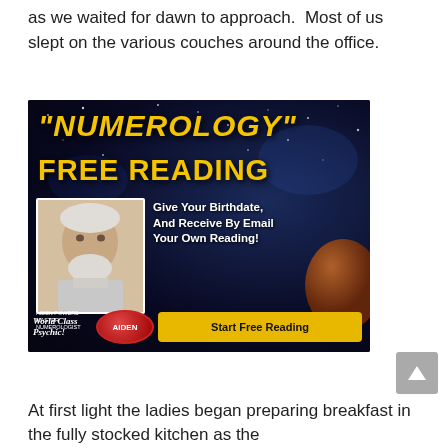as we waited for dawn to approach.  Most of us slept on the various couches around the office.
[Figure (infographic): Advertisement for 'Numerology' Free Reading. Dark space-themed background with orange/gold title text reading "NUMEROLOGY" FREE READING. Photo of an older man with white beard. Text: Give Your Birthdate, And Receive By Email Your Own Reading! Red button labeled AIDEN. Text: World Class Psychic! Yellow button: Start Free Reading. Small text: Aiden Powers Master Numerologist.]
At first light the ladies began preparing breakfast in the fully stocked kitchen as the